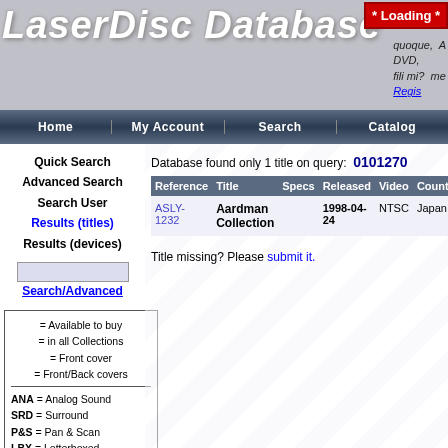[Figure (logo): LaserDisc Database logo with stylized italic text in white with shadow effect]
* Loading *
quoque, DVD, fili mi? me Regis
Home | My Account | Search | Catalog
Quick Search
Advanced Search
Search User
Results (titles)
Results (devices)
Search/Advanced
= Available to buy
= in all Collections
= Front cover
= Front/Back covers
ANA = Analog Sound
SRD = Surround
P&S = Pan & Scan
LBX = Letterboxed
SQZ = Anamorphic
= to IMDb
Database found only 1 title on query: 0101270
| Reference | Title | Specs | Released | Video | Country |
| --- | --- | --- | --- | --- | --- |
| ASLY-1232 | Aardman Collection |  | 1998-04-24 | NTSC | Japan |
Title missing? Please submit it.